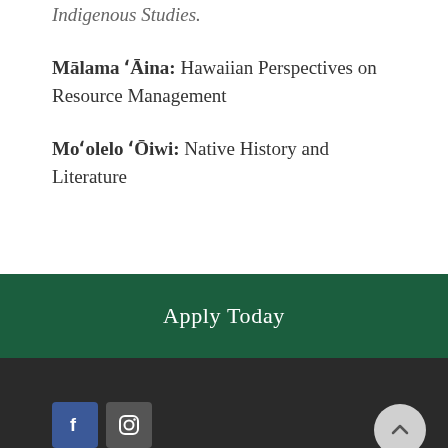Indigenous Studies.
Mālama ʻĀina: Hawaiian Perspectives on Resource Management
Moʻolelo ʻŌiwi: Native History and Literature
Apply Today
[Figure (illustration): Facebook and Instagram social media icon buttons in footer area]
[Figure (illustration): Back to top button (upward chevron) in dark footer]